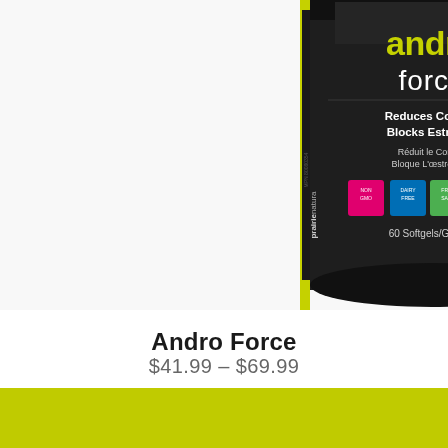[Figure (photo): Product photo of Prairie Naturals Andro Force supplement bottle. Dark/black container with yellow-green label accent on left side. Label reads 'andro force', 'Reduces Cortisol Blocks Estrogen', 'Réduit le Cortisol Bloque L'oestrogène', '60 Softgels/Gélules'. Multiple small colored badge icons visible. Brand name 'prairienatura' visible on side label.]
Andro Force
$41.99 – $69.99